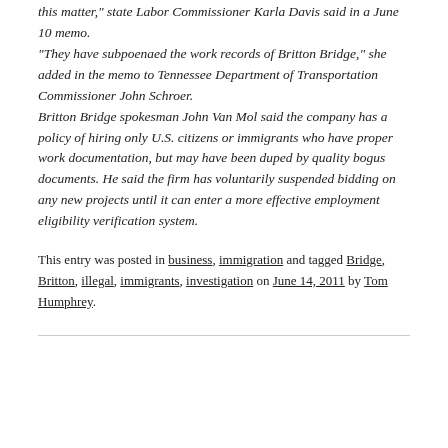this matter," state Labor Commissioner Karla Davis said in a June 10 memo. "They have subpoenaed the work records of Britton Bridge," she added in the memo to Tennessee Department of Transportation Commissioner John Schroer. Britton Bridge spokesman John Van Mol said the company has a policy of hiring only U.S. citizens or immigrants who have proper work documentation, but may have been duped by quality bogus documents. He said the firm has voluntarily suspended bidding on any new projects until it can enter a more effective employment eligibility verification system.
This entry was posted in business, immigration and tagged Bridge, Britton, illegal, immigrants, investigation on June 14, 2011 by Tom Humphrey.